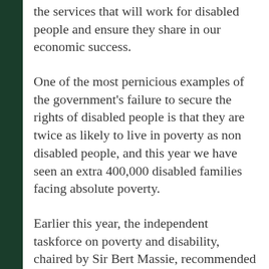the services that will work for disabled people and ensure they share in our economic success.
One of the most pernicious examples of the government's failure to secure the rights of disabled people is that they are twice as likely to live in poverty as non disabled people, and this year we have seen an extra 400,000 disabled families facing absolute poverty.
Earlier this year, the independent taskforce on poverty and disability, chaired by Sir Bert Massie, recommended a number of